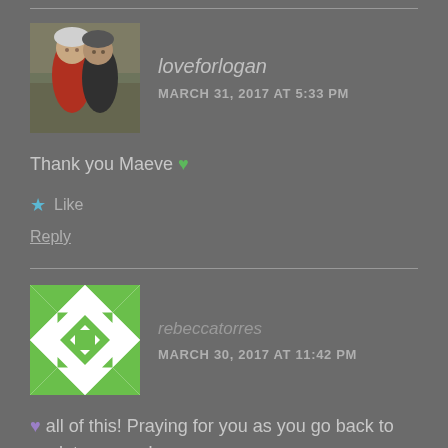[Figure (photo): Profile photo of a couple hugging outdoors, wearing winter hats]
loveforlogan
MARCH 31, 2017 AT 5:33 PM
Thank you Maeve 💚
★ Like
Reply
[Figure (illustration): Green and white geometric quilt-pattern avatar]
rebeccatorres
MARCH 30, 2017 AT 11:42 PM
💜 all of this! Praying for you as you go back to work tomorrow!